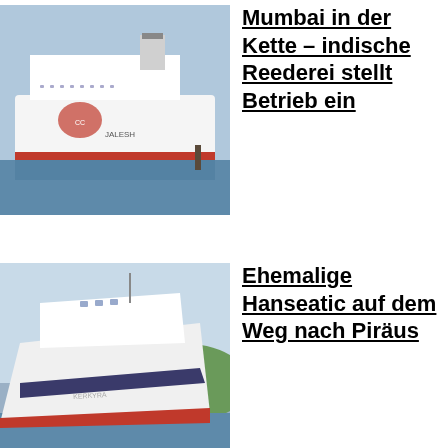[Figure (photo): Large white cruise ship named JALESH docked at port, seen from the side, with a blue and orange logo on the hull.]
Mumbai in der Kette – indische Reederei stellt Betrieb ein
[Figure (photo): White ship (ehemalige Hanseatic) docked at a port, seen from the bow angle, with green hills in the background.]
Ehemalige Hanseatic auf dem Weg nach Piräus
Auch diese Website benutzt Cookies. Weitere Informationen finden sich in der Datenschutzerklärung.
Cookie-Einstellungen
OK